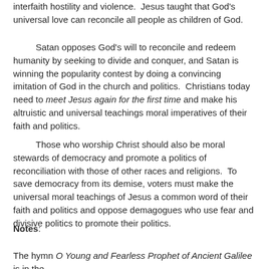interfaith hostility and violence.  Jesus taught that God's universal love can reconcile all people as children of God.
Satan opposes God's will to reconcile and redeem humanity by seeking to divide and conquer, and Satan is winning the popularity contest by doing a convincing imitation of God in the church and politics.  Christians today need to meet Jesus again for the first time and make his altruistic and universal teachings moral imperatives of their faith and politics.
Those who worship Christ should also be moral stewards of democracy and promote a politics of reconciliation with those of other races and religions.  To save democracy from its demise, voters must make the universal moral teachings of Jesus a common word of their faith and politics and oppose demagogues who use fear and divisive politics to promote their politics.
Notes:
The hymn O Young and Fearless Prophet of Ancient Galilee is in the